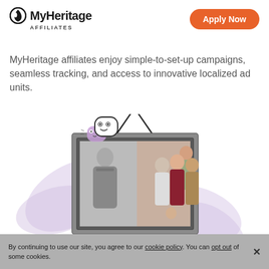[Figure (logo): MyHeritage Affiliates logo with circular icon on the left and text 'MyHeritage' in bold with 'AFFILIATES' below]
[Figure (other): Orange rounded rectangle button with white text 'Apply Now']
MyHeritage affiliates enjoy simple-to-set-up campaigns, seamless tracking, and access to innovative localized ad units.
[Figure (illustration): Illustration showing a framed family photo (mixing black-and-white historical photo and modern color photo of a family group) hanging from a hook with a string, with cartoon ghost/emoji sticker characters floating to the left, and purple decorative hand/leaf shapes in the background]
By continuing to use our site, you agree to our cookie policy. You can opt out of some cookies.